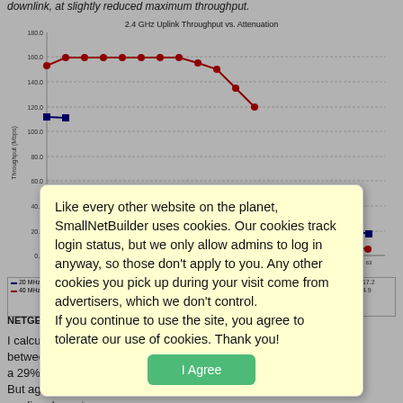downlink, at slightly reduced maximum throughput.
[Figure (line-chart): 2.4 GHz Uplink Throughput vs. Attenuation]
NETGEAR ... compare -
I calculated the throughput between 20 MHz and 40 MHz channels and got a 29% diff... uplink. But again, ... ing to medium le... of
Like every other website on the planet, SmallNetBuilder uses cookies. Our cookies track login status, but we only allow admins to log in anyway, so those don't apply to you. Any other cookies you pick up during your visit come from advertisers, which we don't control.
If you continue to use the site, you agree to tolerate our use of cookies. Thank you!